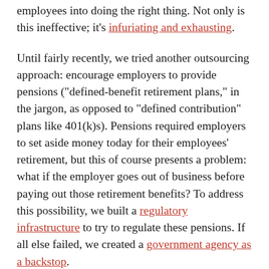employees into doing the right thing. Not only is this ineffective; it's infuriating and exhausting.
Until fairly recently, we tried another outsourcing approach: encourage employers to provide pensions ("defined-benefit retirement plans," in the jargon, as opposed to "defined contribution" plans like 401(k)s). Pensions required employers to set aside money today for their employees' retirement, but this of course presents a problem: what if the employer goes out of business before paying out those retirement benefits? To address this possibility, we built a regulatory infrastructure to try to regulate these pensions. If all else failed, we created a government agency as a backstop.
Somehow the straightforward approach of just providing strong retirement benefits to all Americans, then paying for those benefits with progressive taxes, hasn't yet taken